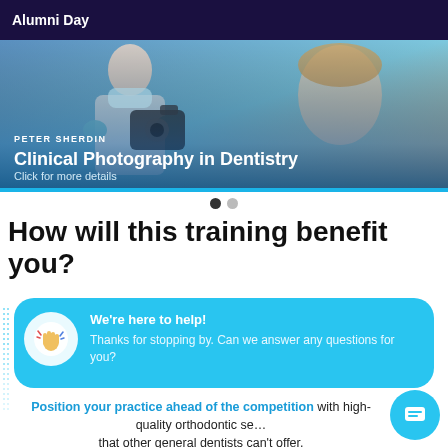[Figure (photo): Banner image showing dental professional performing clinical photography on a patient, with 'Alumni Day' header and 'Peter Sherdin – Clinical Photography in Dentistry' title and 'Click for more details' subtitle]
How will this training benefit you?
We're here to help! Thanks for stopping by. Can we answer any questions for you?
Position your practice ahead of the competition with high-quality orthodontic se… that other general dentists can't offer.